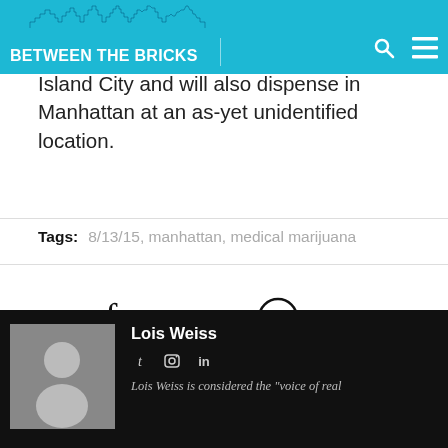BETWEEN THE BRICKS
Island City and will also dispense in Manhattan at an as-yet unidentified location.
Tags: 8/13/15, manhattan, medical marijuana
[Figure (infographic): Social media sharing icons: Facebook, Twitter, Google+, Pinterest, LinkedIn]
Lois Weiss
Lois Weiss is considered the "voice of real